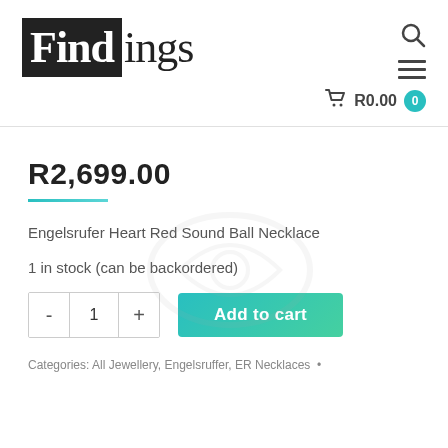[Figure (logo): Findings jewellery store logo — 'Find' in white on black box, 'ings' in black serif font]
R0.00  0
R2,699.00
Engelsrufer Heart Red Sound Ball Necklace
1 in stock (can be backordered)
Add to cart
Categories: All Jewellery, Engelsruffer, ER Necklaces •